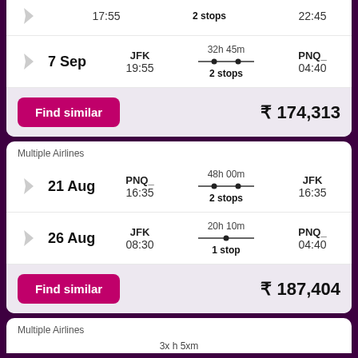17:55 | 2 stops | 22:45 (partial top row)
7 Sep — JFK 19:55 — 32h 45m 2 stops — PNQ 04:40
Find similar — ₹ 174,313
Multiple Airlines
21 Aug — PNQ 16:35 — 48h 00m 2 stops — JFK 16:35
26 Aug — JFK 08:30 — 20h 10m 1 stop — PNQ 04:40
Find similar — ₹ 187,404
Multiple Airlines